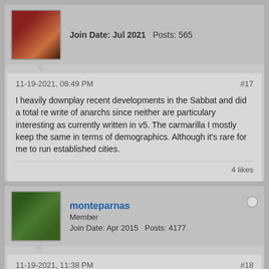Join Date: Jul 2021   Posts: 565
11-19-2021, 08:49 PM
#17
I heavily downplay recent developments in the Sabbat and did a total re write of anarchs since neither are particulary interesting as currently written in v5. The carmarilla I mostly keep the same in terms of demographics. Although it's rare for me to run established cities.
4 likes
monteparnas
Member
Join Date: Apr 2015   Posts: 4177
11-19-2021, 11:38 PM
#18
I may run current Sabbat as is in a future chronicle, but if I do so a lot of the focus will be on ex-Sabbat and the fall of the sect, basically an OoC eulogy for it ending with nuSabbat's complete wipe out and a character writing an elegy for the end of the sect's history.